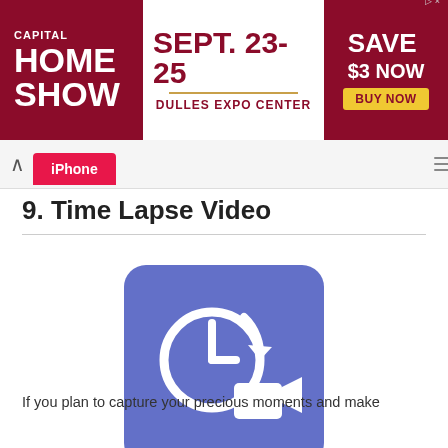[Figure (infographic): Advertisement banner for Capital Home Show, Sept. 23-25, Dulles Expo Center, Save $3 Now, Buy Now button]
iPhone
9. Time Lapse Video
[Figure (logo): Time Lapse Video app icon: blue/purple square with white clock and video camera icon]
If you plan to capture your precious moments and make